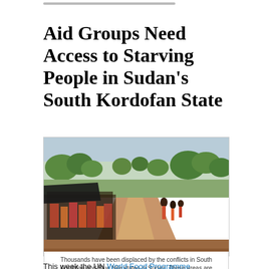Aid Groups Need Access to Starving People in Sudan’s South Kordofan State
[Figure (photo): Photograph of thousands of displaced people standing in a long queue along a dirt road, with trees and greenery in the background, in South Kordofan, Sudan.]
Thousands have been displaced by the conflicts in South Kordofan and Blue Nile states in Sudan. These areas are facing a hunger crisis and aid groups need access. Credit: UNHCR
This week the UN World Food Programme